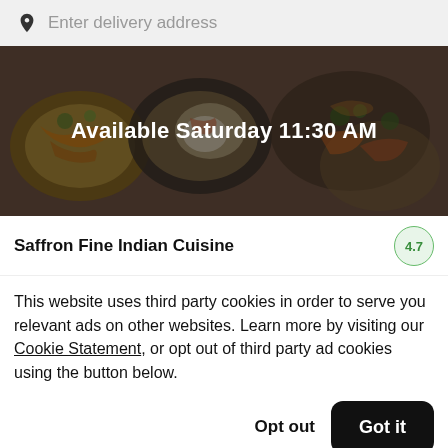Enter delivery address
[Figure (photo): Hero image of Indian food dishes with dark overlay. Text overlay reads 'Available Saturday 11:30 AM']
Saffron Fine Indian Cuisine
This website uses third party cookies in order to serve you relevant ads on other websites. Learn more by visiting our Cookie Statement, or opt out of third party ad cookies using the button below.
Opt out
Got it